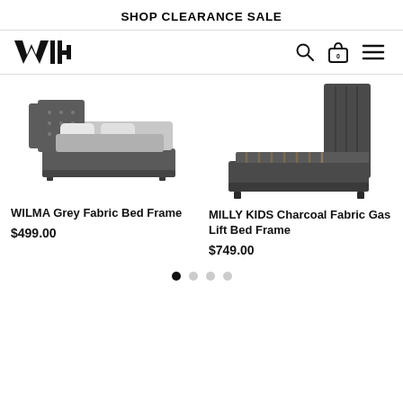SHOP CLEARANCE SALE
[Figure (logo): WYLD brand logo in bold stylized text]
[Figure (photo): WILMA Grey Fabric Bed Frame product photo - grey tufted wingback bed with pillows]
WILMA Grey Fabric Bed Frame
$499.00
[Figure (photo): MILLY KIDS Charcoal Fabric Gas Lift Bed Frame product photo - single bed with gas lift base open showing slats]
MILLY KIDS Charcoal Fabric Gas Lift Bed Frame
$749.00